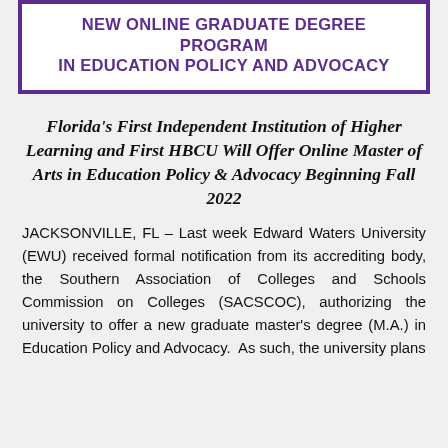NEW ONLINE GRADUATE DEGREE PROGRAM IN EDUCATION POLICY AND ADVOCACY
Florida's First Independent Institution of Higher Learning and First HBCU Will Offer Online Master of Arts in Education Policy & Advocacy Beginning Fall 2022
JACKSONVILLE, FL – Last week Edward Waters University (EWU) received formal notification from its accrediting body, the Southern Association of Colleges and Schools Commission on Colleges (SACSCOC), authorizing the university to offer a new graduate master's degree (M.A.) in Education Policy and Advocacy. As such, the university plans